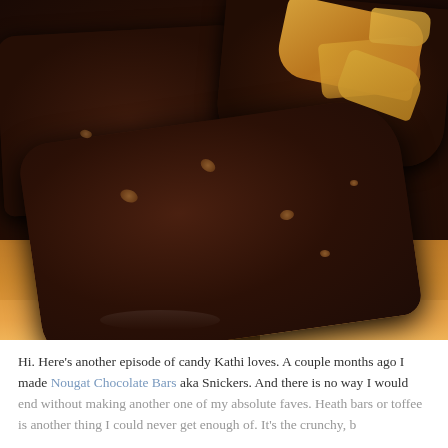[Figure (photo): Close-up photograph of chocolate toffee bark pieces stacked, showing dark chocolate coating with nuts and caramel/toffee visible underneath and on top, shot on a white surface.]
Hi. Here's another episode of candy Kathi loves. A couple months ago I made Nougat Chocolate Bars aka Snickers. And there is no way I would end without making another one of my absolute faves. Heath bars or toffee is another thing I could never get enough of. It's the crunchy, b...